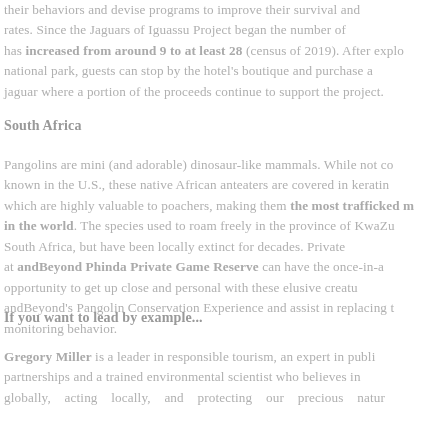their behaviors and devise programs to improve their survival and rates. Since the Jaguars of Iguassu Project began the number of has increased from around 9 to at least 28 (census of 2019). After explo national park, guests can stop by the hotel's boutique and purchase a jaguar where a portion of the proceeds continue to support the project.
South Africa
Pangolins are mini (and adorable) dinosaur-like mammals. While not co known in the U.S., these native African anteaters are covered in keratin which are highly valuable to poachers, making them the most trafficked m in the world. The species used to roam freely in the province of KwaZu South Africa, but have been locally extinct for decades. Private at andBeyond Phinda Private Game Reserve can have the once-in-a opportunity to get up close and personal with these elusive creatu andBeyond's Pangolin Conservation Experience and assist in replacing t monitoring behavior.
If you want to lead by example...
Gregory Miller is a leader in responsible tourism, an expert in publi partnerships and a trained environmental scientist who believes in globally, acting locally, and protecting our precious natur